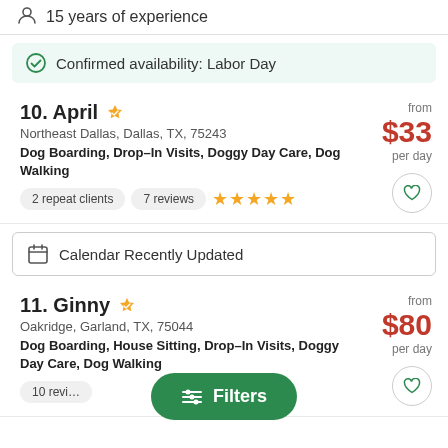15 years of experience
Confirmed availability: Labor Day
10. April
Northeast Dallas, Dallas, TX, 75243
Dog Boarding, Drop-In Visits, Doggy Day Care, Dog Walking
from $33 per day
2 repeat clients
7 reviews
Calendar Recently Updated
11. Ginny
Oakridge, Garland, TX, 75044
Dog Boarding, House Sitting, Drop-In Visits, Doggy Day Care, Dog Walking
from $80 per day
10 reviews
Filters